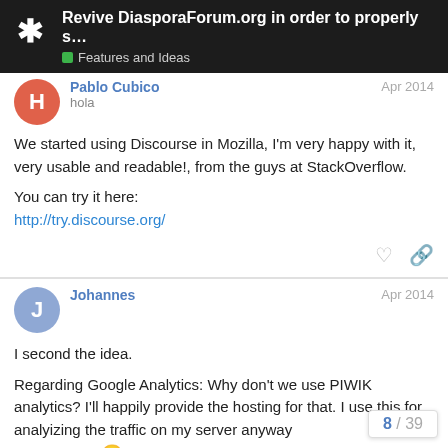Revive DiasporaForum.org in order to properly s... | Features and Ideas
Pablo Cubico
hola
Apr 2014
We started using Discourse in Mozilla, I'm very happy with it, very usable and readable!, from the guys at StackOverflow.

You can try it here:
http://try.discourse.org/
Johannes
Apr 2014
I second the idea.

Regarding Google Analytics: Why don't we use PIWIK analytics? I'll happily provide the hosting for that. I use this for analyizing the traffic on my server anyway
go to google
8 / 39